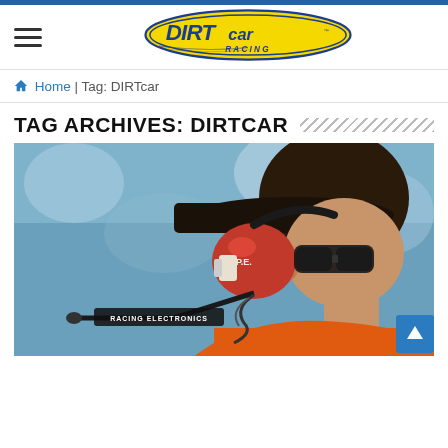[Figure (logo): DIRTcar Racing logo — stylized text with blue outline, yellow oval background, and 'RACING' subtitle]
Home | Tag: DIRTcar
TAG ARCHIVES: DIRTCAR
[Figure (photo): Close-up profile photo of a person wearing red racing headset/headphones with 'Racing Electronics' microphone boom, dark cap, sunglasses, and orange shirt. Blue blurred background.]